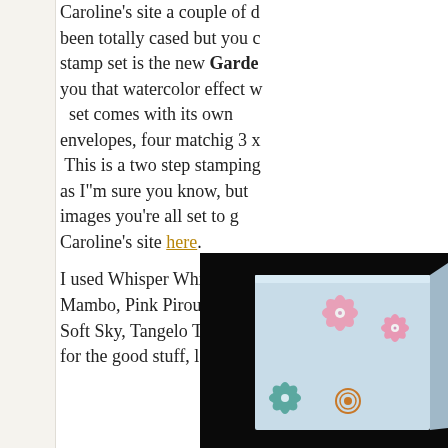Caroline's site a couple of days ago. It has been totally cased but you can see... stamp set is the new Garden... you that watercolor effect w... set comes with its own... envelopes, four matchig 3 x... This is a two step stamping... as I"m sure you know, but... images you're all set to g... Caroline's site here.
I used Whisper White and S... Mambo, Pink Pirouette, Old... Soft Sky, Tangelo Twist and... for the good stuff, lots of pic...
[Figure (photo): A craft box decorated with stamped flowers in pink, teal/blue, and orange on a light blue background, photographed against a dark/black background.]